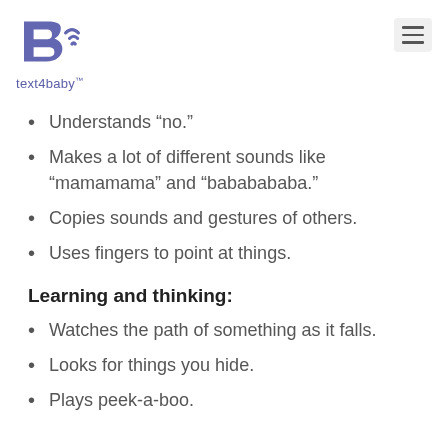[Figure (logo): text4baby logo: purple letter B with wifi/sound waves and text 'text4baby' below]
Understands “no.”
Makes a lot of different sounds like “mamamama” and “bababababa.”
Copies sounds and gestures of others.
Uses fingers to point at things.
Learning and thinking:
Watches the path of something as it falls.
Looks for things you hide.
Plays peek-a-boo.